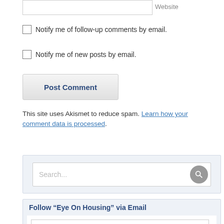Website
Notify me of follow-up comments by email.
Notify me of new posts by email.
Post Comment
This site uses Akismet to reduce spam. Learn how your comment data is processed.
[Figure (other): Search widget with text input and search button]
Follow “Eye On Housing” via Email
[Figure (other): Email subscription input field with subscribe button]